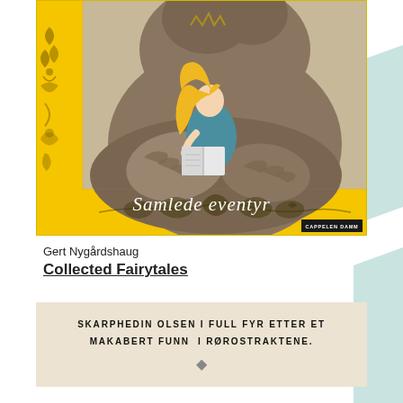[Figure (illustration): Book cover of 'Samlede eventyr' (Collected Fairytales) by Gert Nygårdshaug, published by Cappelen Damm. Yellow border on left and bottom with decorative black scrollwork. Central illustration shows a small blonde girl in a blue dress reading a book while nestled in the large hands/lap of a giant troll-like creature. White italic text reads 'Samlede eventyr' at the bottom of the illustration.]
Gert Nygårdshaug
Collected Fairytales
SKARPHEDIN OLSEN I FULL FYR ETTER ET MAKABERT FUNN I RØROSTRAKTENE.